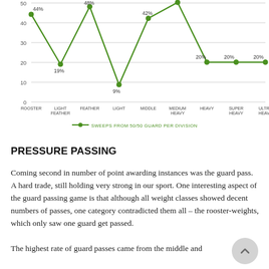[Figure (line-chart): Sweeps from 50/50 Guard per Division]
PRESSURE PASSING
Coming second in number of point awarding instances was the guard pass. A hard trade, still holding very strong in our sport. One interesting aspect of the guard passing game is that although all weight classes showed decent numbers of passes, one category contradicted them all – the rooster-weights, which only saw one guard get passed.
The highest rate of guard passes came from the middle and